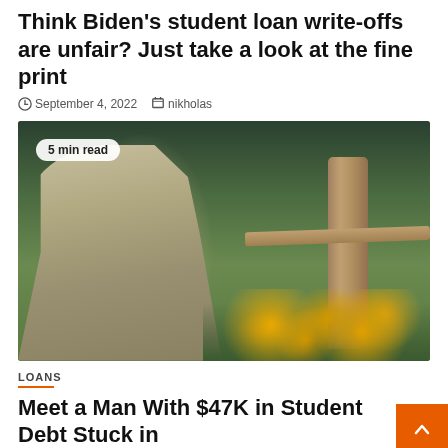Think Biden's student loan write-offs are unfair? Just take a look at the fine print
September 4, 2022   nikholas
[Figure (photo): A middle-aged man with gray hair and beard wearing a khaki shirt, standing outdoors in front of a wooden fence post and wire fencing with green grass and yellow flowers in the background. A badge reads '5 min read'.]
LOANS
Meet a Man With $47K in Student Debt Stuck in Repayment for 3 Decades
July 31, 2022   nikholas